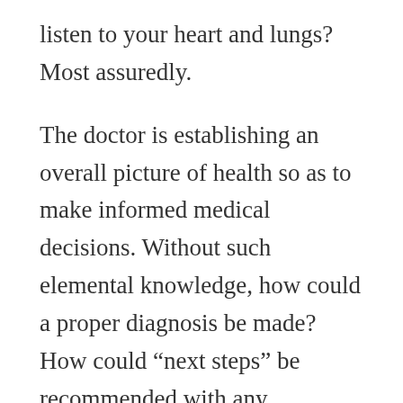listen to your heart and lungs? Most assuredly.
The doctor is establishing an overall picture of health so as to make informed medical decisions. Without such elemental knowledge, how could a proper diagnosis be made? How could “next steps” be recommended with any confidence? It is not possible to provide appropriate care or guidance simply by looking at a person. Assumptions could be a death sentence